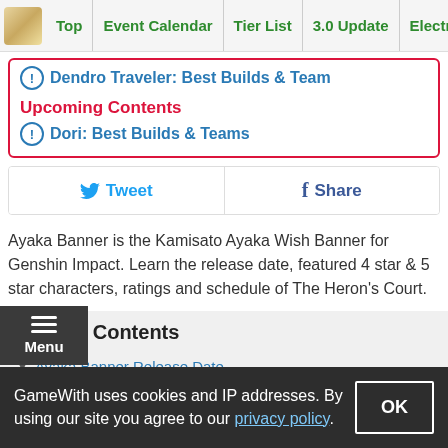Top | Event Calendar | Tier List | 3.0 Update | Electroc
Dendro Traveler: Best Builds & Team
Upcoming Contents
Dori: Best Builds & Teams
Tweet
Share
Ayaka Banner is the Kamisato Ayaka Wish Banner for Genshin Impact. Learn the release date, featured 4 star & 5 star characters, ratings and schedule of The Heron's Court.
Table of Contents
Ayaka Banner Release Date
Should You Roll For Ayaka's Banner?
GameWith uses cookies and IP addresses. By using our site you agree to our privacy policy.